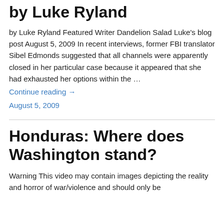by Luke Ryland
by Luke Ryland Featured Writer Dandelion Salad Luke's blog post August 5, 2009 In recent interviews, former FBI translator Sibel Edmonds suggested that all channels were apparently closed in her particular case because it appeared that she had exhausted her options within the …
Continue reading →
August 5, 2009
Honduras: Where does Washington stand?
Warning This video may contain images depicting the reality and horror of war/violence and should only be